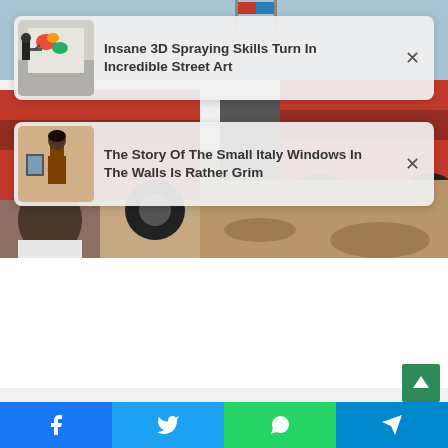[Figure (screenshot): Website notification cards overlay on background image showing jeeps on a beach. Two dismissible article recommendation cards are shown.]
Insane 3D Spraying Skills Turn In Incredible Street Art
The Story Of The Small Italy Windows In The Walls Is Rather Grim
[Figure (screenshot): Social share bar with Facebook, Twitter, WhatsApp, and Telegram buttons at the bottom of the page.]